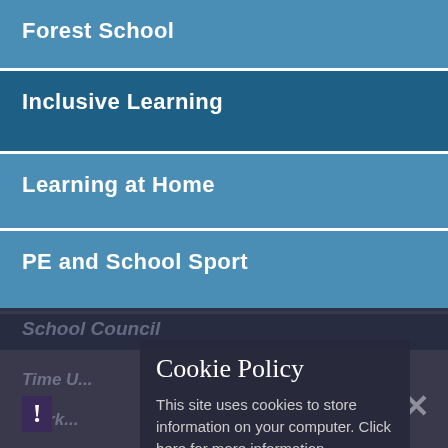Forest School
Inclusive Learning
Learning at Home
PE and School Sport
School Council
Cookie Policy
This site uses cookies to store information on your computer. Click here for more information
Allow Cookies
Deny Cookies